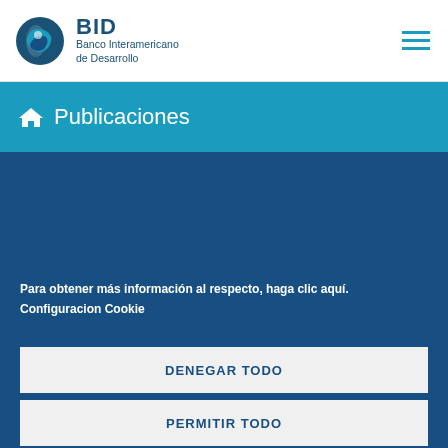BID Banco Interamericano de Desarrollo
Publicaciones
Para obtener más información al respecto, haga clic aquí.
Configuracion Cookie
DENEGAR TODO
PERMITIR TODO